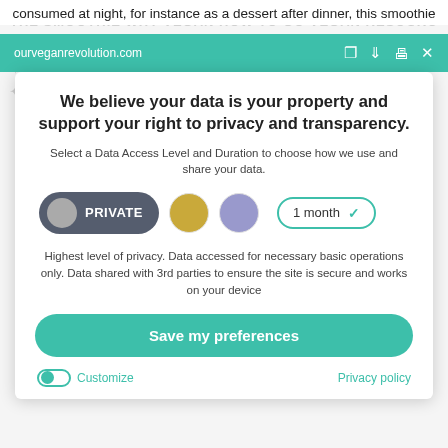consumed at night, for instance as a dessert after dinner, this smoothie
ourveganrevolution.com
We believe your data is your property and support your right to privacy and transparency.
Select a Data Access Level and Duration to choose how we use and share your data.
PRIVATE | gold circle | purple circle | 1 month dropdown
Highest level of privacy. Data accessed for necessary basic operations only. Data shared with 3rd parties to ensure the site is secure and works on your device
Save my preferences
Customize
Privacy policy